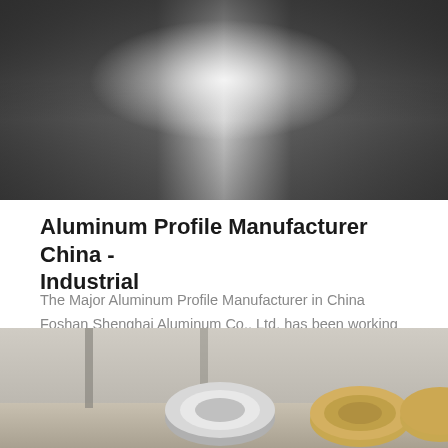[Figure (photo): Close-up of brushed aluminum/metal surface with a bright specular highlight in the center, dark grey tones on sides]
Aluminum Profile Manufacturer China - Industrial
The Major Aluminum Profile Manufacturer in China Foshan Shenghai Aluminum Co., Ltd. has been working since 2010 and has already earned a reputation as the leading aluminum profile factory across China. Operating strictly…
[Figure (other): GET QUOTE button — dark navy blue rounded rectangle with white uppercase text]
[Figure (photo): Warehouse interior with large rolls of aluminum coil stock on the floor, pale yellowish and silver wrapping]